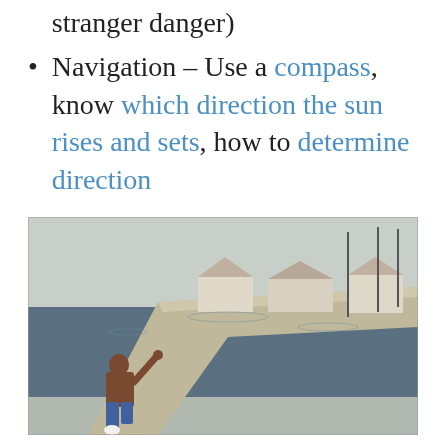stranger danger)
Navigation – Use a compass, know which direction the sun rises and sets, how to determine direction
[Figure (photo): A person kneeling on a concrete levee or flood wall, with floodwater and partially submerged houses visible in the background.]
You want them to be comfortable so they will…